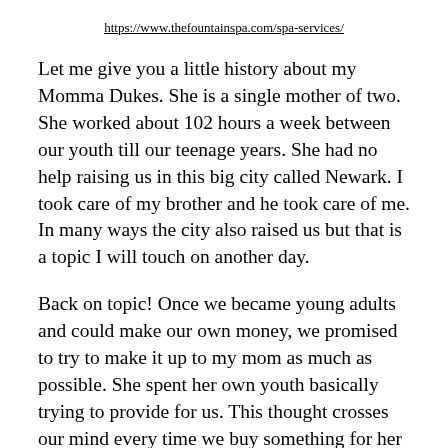https://www.thefountainspa.com/spa-services/
Let me give you a little history about my Momma Dukes. She is a single mother of two. She worked about 102 hours a week between our youth till our teenage years. She had no help raising us in this big city called Newark. I took care of my brother and he took care of me. In many ways the city also raised us but that is a topic I will touch on another day.
Back on topic! Once we became young adults and could make our own money, we promised to try to make it up to my mom as much as possible. She spent her own youth basically trying to provide for us. This thought crosses our mind every time we buy something for her or our home.
Referencing my previous post “Awareness” be mindful of your yourself. Take care of yourself and sometimes